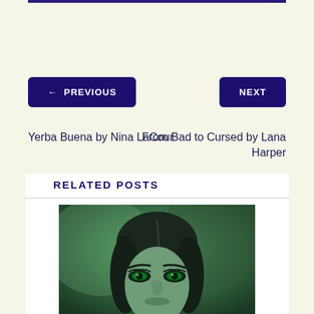← PREVIOUS
Yerba Buena by Nina LaCour
NEXT
From Bad to Cursed by Lana Harper
RELATED POSTS
[Figure (photo): Green-tinted close-up portrait of a dark-haired woman with striking green eyes, looking directly at camera]